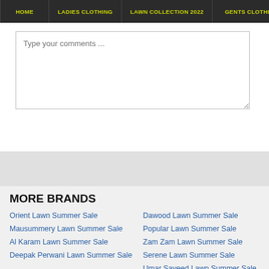HOME | LADIES CLOTHING | LAWN COLLECTION 2022 | GENTS CLOTHING
Type your comments ...
MORE BRANDS
Orient Lawn Summer Sale
Mausummery Lawn Summer Sale
Al Karam Lawn Summer Sale
Deepak Perwani Lawn Summer Sale
Dawood Lawn Summer Sale
Popular Lawn Summer Sale
Zam Zam Lawn Summer Sale
Serene Lawn Summer Sale
Umar Sayeed Lawn Summer Sale